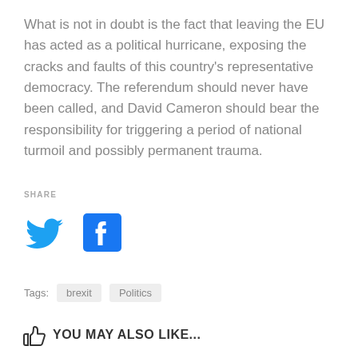What is not in doubt is the fact that leaving the EU has acted as a political hurricane, exposing the cracks and faults of this country's representative democracy. The referendum should never have been called, and David Cameron should bear the responsibility for triggering a period of national turmoil and possibly permanent trauma.
SHARE
[Figure (illustration): Twitter bird icon (blue) and Facebook icon (dark blue square with white f)]
Tags: brexit Politics
YOU MAY ALSO LIKE...